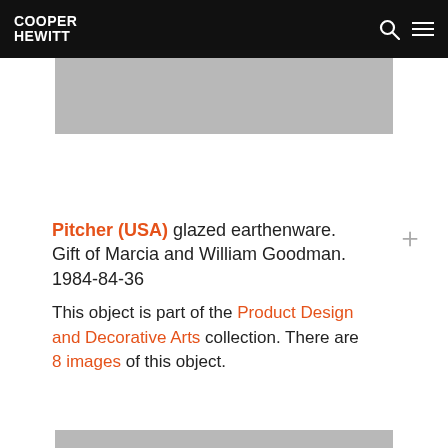COOPER HEWITT
[Figure (photo): Partial view of a pitcher object, gray image placeholder at top]
Pitcher (USA) glazed earthenware. Gift of Marcia and William Goodman. 1984-84-36
This object is part of the Product Design and Decorative Arts collection. There are 8 images of this object.
[Figure (photo): Partial view of a pitcher object, gray image placeholder at bottom]